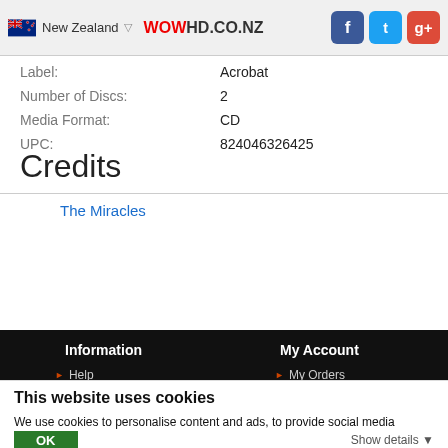New Zealand | WOWHD.CO.NZ
| Label: | Acrobat |
| Number of Discs: | 2 |
| Media Format: | CD |
| UPC: | 824046326425 |
Credits
The Miracles
Information
Help
DVD Region Info
My Account
My Orders
My Wishlist
This website uses cookies
We use cookies to personalise content and ads, to provide social media features and to analyse our traffic. We also share information about your use of our site with our social media, advertising and analytics partners who may combine it with other information that you've provided to them or that they've collected from your use of their services.
OK
Show details